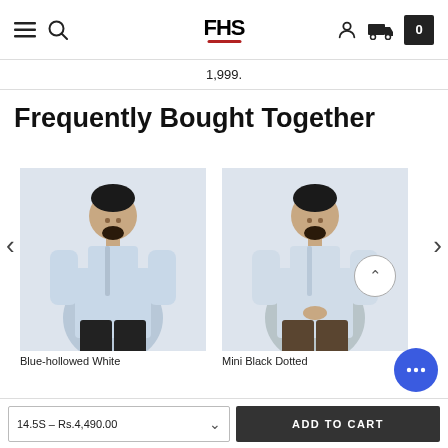FHS [navbar with menu, search, logo, user, delivery, cart icons]
1,999.
Frequently Bought Together
[Figure (photo): Man wearing a light blue dress shirt with black trousers, standing with hands in pockets]
[Figure (photo): Man wearing a light blue dress shirt with dark khaki trousers, standing with hands clasped]
Blue-hollowed White
Mini Black Dotted
14.5S – Rs.4,490.00
ADD TO CART